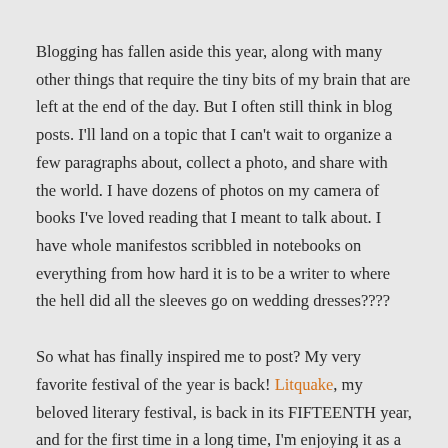Blogging has fallen aside this year, along with many other things that require the tiny bits of my brain that are left at the end of the day. But I often still think in blog posts. I'll land on a topic that I can't wait to organize a few paragraphs about, collect a photo, and share with the world. I have dozens of photos on my camera of books I've loved reading that I meant to talk about. I have whole manifestos scribbled in notebooks on everything from how hard it is to be a writer to where the hell did all the sleeves go on wedding dresses????
So what has finally inspired me to post? My very favorite festival of the year is back! Litquake, my beloved literary festival, is back in its FIFTEENTH year, and for the first time in a long time, I'm enjoying it as a participant rather than an organizer. It's a heady experience to consume words, to soak